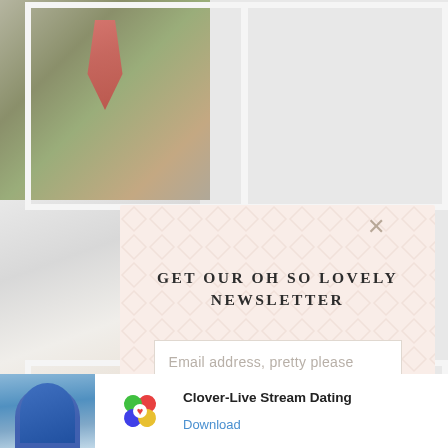[Figure (photo): Background collage of wedding-related photos: bouquet of flowers (top-left), man in suit with floral tie (top-right), lace wedding dress detail (bottom-left), white flower close-up (bottom-right)]
[Figure (screenshot): Newsletter signup modal overlay with light pink/peach background and diamond pattern. Title: GET OUR OH SO LOVELY NEWSLETTER. Email input field with placeholder 'Email address, pretty please'. Teal SIGN UP button. Close X button in top-right corner.]
GET OUR OH SO LOVELY NEWSLETTER
Email address, pretty please
SIGN UP
[Figure (infographic): Ad bar at bottom: Clover-Live Stream Dating app advertisement. Shows beach photo with woman, Clover app logo (clover leaf with colored petals), app name and Download link.]
Ad
Clover-Live Stream Dating
Download